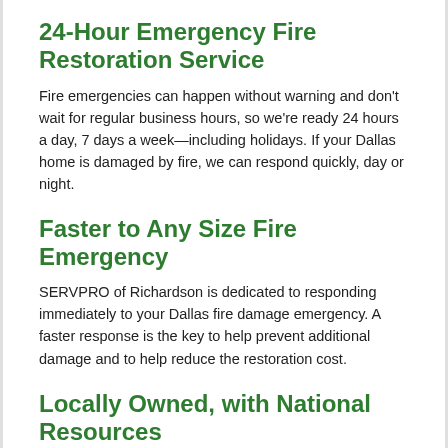24-Hour Emergency Fire Restoration Service
Fire emergencies can happen without warning and don't wait for regular business hours, so we're ready 24 hours a day, 7 days a week—including holidays. If your Dallas home is damaged by fire, we can respond quickly, day or night.
Faster to Any Size Fire Emergency
SERVPRO of Richardson is dedicated to responding immediately to your Dallas fire damage emergency. A faster response is the key to help prevent additional damage and to help reduce the restoration cost.
Locally Owned, with National Resources
We are proud to be an active member of this community. SERVPRO of Richardson is locally owned and operated so